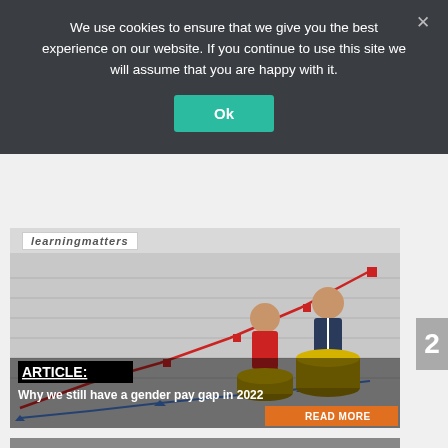We use cookies to ensure that we give you the best experience on our website. If you continue to use this site we will assume that you are happy with it.
Ok
[Figure (photo): Article card image showing two figurines (a woman in red and a man in a suit) standing on stacks of coins in front of a line chart showing diverging trend lines going up. The image promotes an article about the gender pay gap.]
ARTICLE: Why we still have a gender pay gap in 2022
READ MORE